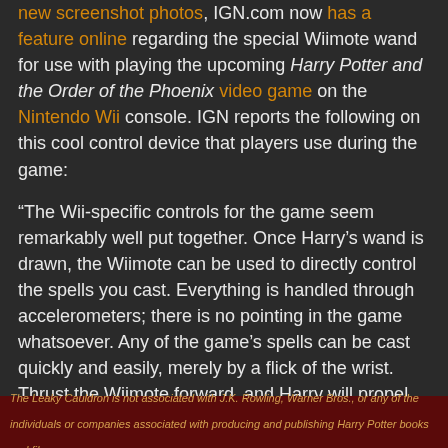new screenshot photos, IGN.com now has a feature online regarding the special Wiimote wand for use with playing the upcoming Harry Potter and the Order of the Phoenix video game on the Nintendo Wii console. IGN reports the following on this cool control device that players use during the game:
“The Wii-specific controls for the game seem remarkably well put together. Once Harry’s wand is drawn, the Wiimote can be used to directly control the spells you cast. Everything is handled through accelerometers; there is no pointing in the game whatsoever. Any of the game’s spells can be cast quickly and easily, merely by a flick of the wrist. Thrust the Wiimote forward, and Harry will propel an object away from himself. Motion upward with both the Wiimote and nunchuk, and Harry will cause an object to levitate in the air.
Once you have an object floating, you can move the
The Leaky Cauldron is not associated with J.K. Rowling, Warner Bros., or any of the individuals or companies associated with producing and publishing Harry Potter books and films.